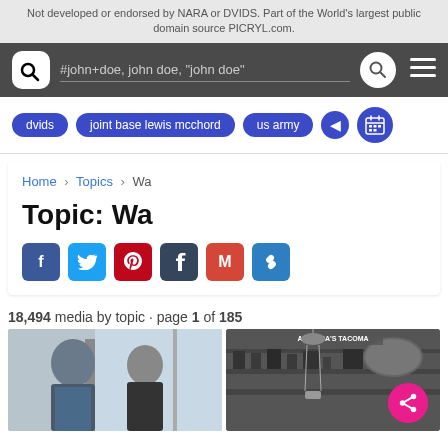Not developed or endorsed by NARA or DVIDS. Part of the World's largest public domain source PICRYL.com.
#john+doe, john doe, "john doe"
dvids
joint base lewis mcchord
us army
Home > Topics > Wa
Topic: Wa
18,494 media by topic · page 1 of 185
[Figure (screenshot): Two people standing near a window, military uniforms visible]
[Figure (photo): Black and white historical photo with text 'AMERICA'S TACOMA' visible]